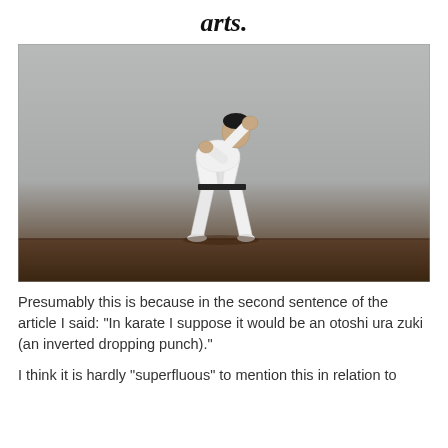arts.
[Figure (photo): A person dressed in a white karate gi with a black belt performing a martial arts technique (punching stance) in a room with a grey wall and wooden floor.]
Presumably this is because in the second sentence of the article I said: "In karate I suppose it would be an otoshi ura zuki (an inverted dropping punch)."
I think it is hardly "superfluous" to mention this in relation to